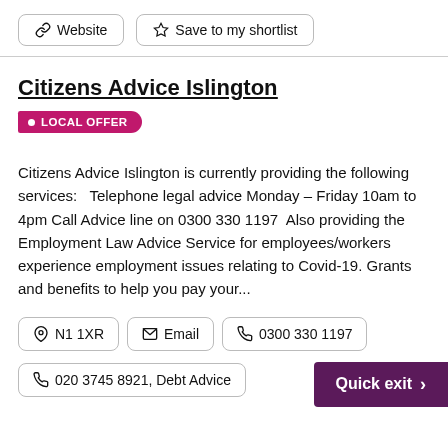Website
Save to my shortlist
Citizens Advice Islington
LOCAL OFFER
Citizens Advice Islington is currently providing the following services:   Telephone legal advice Monday – Friday 10am to 4pm Call Advice line on 0300 330 1197  Also providing the Employment Law Advice Service for employees/workers experience employment issues relating to Covid-19. Grants and benefits to help you pay your...
N1 1XR
Email
0300 330 1197
020 3745 8921, Debt Advice
Quick exit